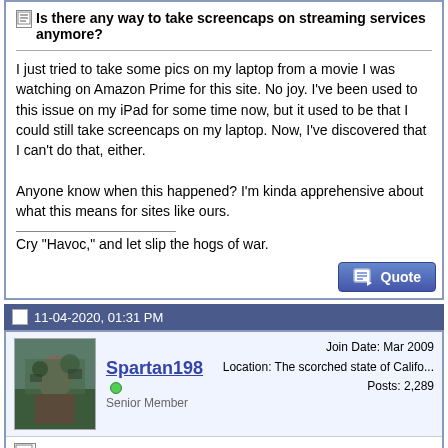Is there any way to take screencaps on streaming services anymore?
I just tried to take some pics on my laptop from a movie I was watching on Amazon Prime for this site. No joy. I've been used to this issue on my iPad for some time now, but it used to be that I could still take screencaps on my laptop. Now, I've discovered that I can't do that, either.

Anyone know when this happened? I'm kinda apprehensive about what this means for sites like ours.
Cry "Havoc," and let slip the hogs of war.
11-04-2020, 01:31 PM
Spartan198
Senior Member
Join Date: Mar 2009
Location: The scorched state of Califo...
Posts: 2,289
Some screencaps I added to the Valor page recently were taken via PRT SCRN while watching it on Netflix. Maybe Amazon did something to prevent screencapping? Similar to how Sony and Microsoft supposedly made it so that screen capture functionality on PS4 and